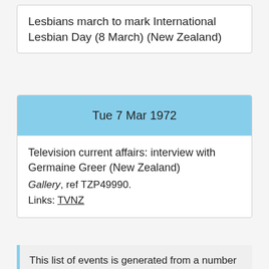Lesbians march to mark International Lesbian Day (8 March) (New Zealand)
Tue 7 Mar 1972
Television current affairs: interview with Germaine Greer (New Zealand)
Gallery, ref TZP49990.
Links: TVNZ
This list of events is generated from a number of different sources: media items on PrideNZ.com, archived pages from GayNZ.com, our rainbow timeline and links to rainbow-related stories on other media sites. There may be some inaccuracies - please let us know if you find anything that needs changing. If you would like to see a full list of dates click here